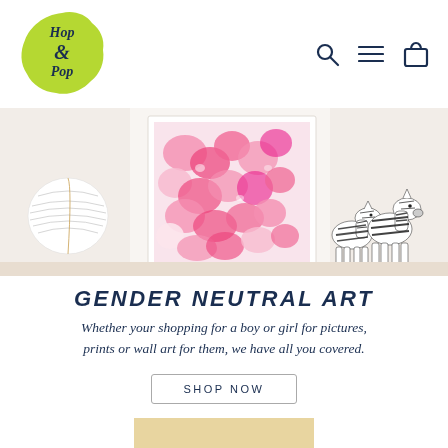[Figure (logo): Hop & Pop logo: text on a green blob/splat shape]
[Figure (other): Navigation icons: search (magnifying glass), hamburger menu, shopping bag — in dark navy]
[Figure (photo): Hero banner photo: white shelf with a paper lantern ball, a framed watercolor print of pink flowers/petals, and two black-and-white zebra figurines]
GENDER NEUTRAL ART
Whether your shopping for a boy or girl for pictures, prints or wall art for them, we have all you covered.
SHOP NOW